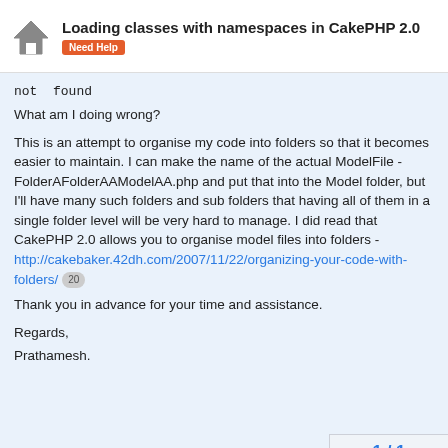Loading classes with namespaces in CakePHP 2.0 | Need Help
not found
What am I doing wrong?
This is an attempt to organise my code into folders so that it becomes easier to maintain. I can make the name of the actual ModelFile - FolderAFolderAAModelAA.php and put that into the Model folder, but I'll have many such folders and sub folders that having all of them in a single folder level will be very hard to manage. I did read that CakePHP 2.0 allows you to organise model files into folders - http://cakebaker.42dh.com/2007/11/22/organizing-your-code-with-folders/ 20
Thank you in advance for your time and assistance.
Regards,
Prathamesh.
1 / 1